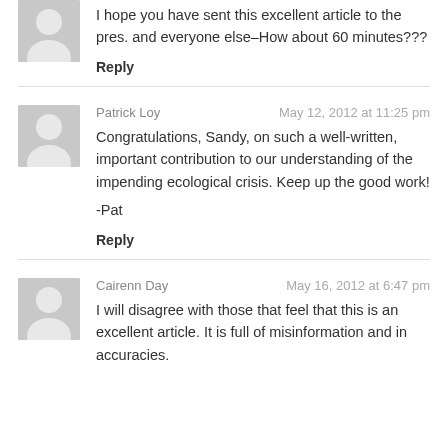I hope you have sent this excellent article to the pres. and everyone else–How about 60 minutes???
Reply
Patrick Loy — May 12, 2012 at 11:25 pm
Congratulations, Sandy, on such a well-written, important contribution to our understanding of the impending ecological crisis. Keep up the good work!

-Pat
Reply
Cairenn Day — May 16, 2012 at 6:47 pm
I will disagree with those that feel that this is an excellent article. It is full of misinformation and in accuracies.